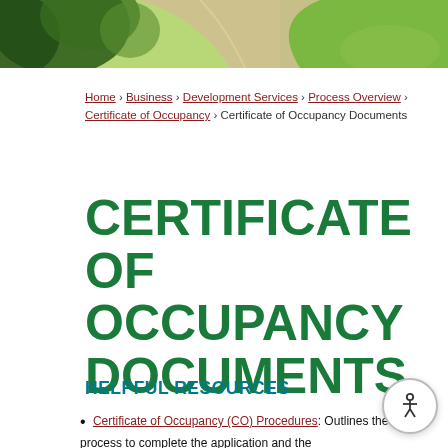[Figure (photo): Aerial or landscape photo banner showing green trees, lawn, and a pathway/road, used as a decorative header image for the webpage.]
Home › Business › Development Services › Process Overview › Certificate of Occupancy › Certificate of Occupancy Documents
CERTIFICATE OF OCCUPANCY DOCUMENTS
HELPFUL RESOURCES
Certificate of Occupancy (CO) Procedures: Outlines the process to complete the application and the steps with which Oakland Bureau and rights...